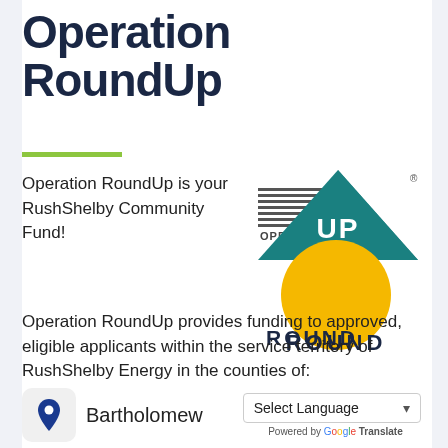Operation RoundUp
Operation RoundUp is your RushShelby Community Fund!
[Figure (logo): Operation RoundUp logo: yellow circle with 'ROUND' text, teal triangle with 'UP' text, horizontal lines and 'OPERATION' text]
Operation RoundUp provides funding to approved, eligible applicants within the service territory of RushShelby Energy in the counties of:
Bartholomew
Select Language
Powered by Google Translate